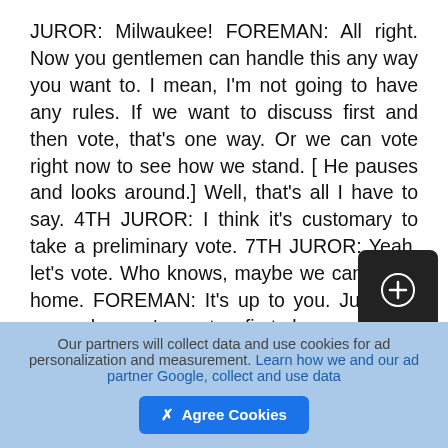JUROR: Milwaukee! FOREMAN: All right. Now you gentlemen can handle this any way you want to. I mean, I'm not going to have any rules. If we want to discuss first and then vote, that's one way. Or we can vote right now to see how we stand. [ He pauses and looks around.] Well, that's all I have to say. 4TH JUROR: I think it's customary to take a preliminary vote. 7TH JUROR: Yeah, let's vote. Who knows, maybe we can all go home. FOREMAN: It's up to you. Just let's remember we've got a first degree murder charge here. If we vote "guilty," we send the accused to the electric chair. That's mandatory. 4TH JUROR: I think we all know that.
3RD JUROR: Come on, let's vote. 10TH JUROR: Yeah,
Our partners will collect data and use cookies for ad personalization and measurement. Learn how we and our ad partner Google, collect and use data  ✗ Agree Cookies